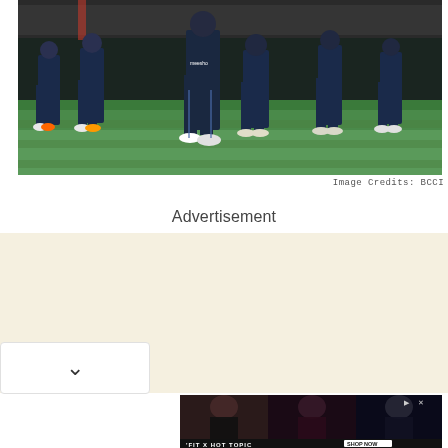[Figure (photo): Cricket players in dark navy blue uniforms walking on a green field, several players visible, stadium crowd in background, taken at night under floodlights]
Image Credits: BCCI
Advertisement
[Figure (screenshot): Advertisement banner showing three panels with women/performers, with 'FIT X HOT TOPIC SHOP NOW' text at bottom and close/skip icons at top right]